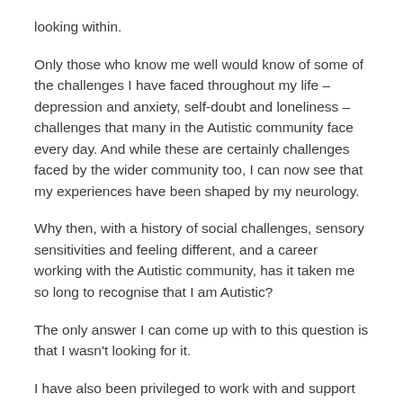looking within.
Only those who know me well would know of some of the challenges I have faced throughout my life – depression and anxiety, self-doubt and loneliness – challenges that many in the Autistic community face every day. And while these are certainly challenges faced by the wider community too, I can now see that my experiences have been shaped by my neurology.
Why then, with a history of social challenges, sensory sensitivities and feeling different, and a career working with the Autistic community, has it taken me so long to recognise that I am Autistic?
The only answer I can come up with to this question is that I wasn't looking for it.
I have also been privileged to work with and support the Autistic community…